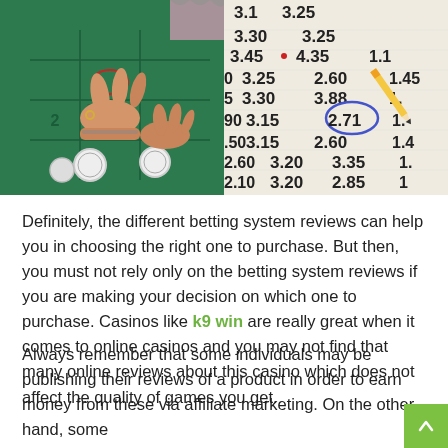[Figure (photo): Two photos side by side: left shows hands placing chips on a green casino roulette/craps table; right shows a betting odds sheet with numbers like 3.25, 3.30, 3.45, 4.35, 1.45, 3.25, 2.60, 3.88, 2.71 circled, 3.15, 2.60, 3.15, 3.35, 3.20, 2.85, 2.10 and a pencil pointing at the sheet.]
Definitely, the different betting system reviews can help you in choosing the right one to purchase. But then, you must not rely only on the betting system reviews if you are making your decision on which one to purchase. Casinos like k9 win are really great when it comes to online casinos and you may not find that many online reviews about this casino which does not affect the quality of games you get.
Always remember that some individuals may be publishing their reviews of a product in order to earn money from these via affiliate marketing. On the other hand, some